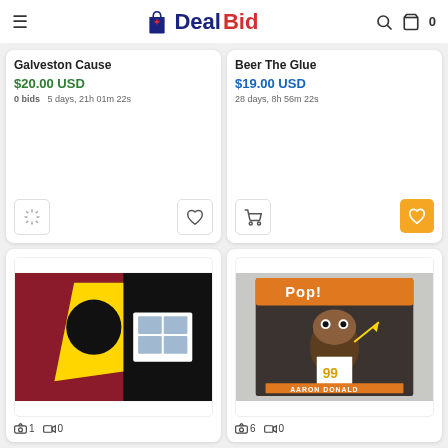DealBid
Galveston Cause
$20.00 USD
0 bids   5 days, 21h 01m 22s
Beer The Glue
$19.00 USD
28 days, 8h 56m 22s
[Figure (photo): Bottom-left product card showing stamps on dark background with yellow/black design. Camera icon: 1, Video icon: 0]
[Figure (photo): Bottom-right product card showing Funko Pop Aaron Donald figure box. Camera icon: 6, Video icon: 0]